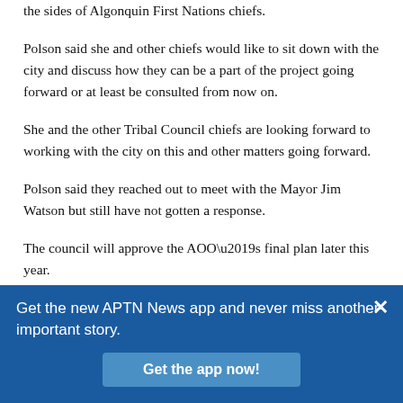the sides of Algonquin First Nations chiefs.
Polson said she and other chiefs would like to sit down with the city and discuss how they can be a part of the project going forward or at least be consulted from now on.
She and the other Tribal Council chiefs are looking forward to working with the city on this and other matters going forward.
Polson said they reached out to meet with the Mayor Jim Watson but still have not gotten a response.
The council will approve the AOO’s final plan later this year.
Get the new APTN News app and never miss another important story.
Get the app now!